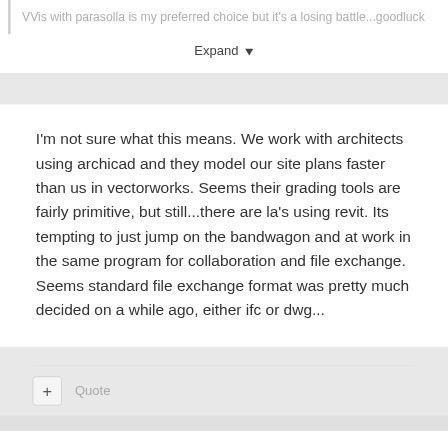VVis with parasolla is my preferred choice but it's a losing battle...goodluck
Expand
I'm not sure what this means. We work with architects using archicad and they model our site plans faster than us in vectorworks. Seems their grading tools are fairly primitive, but still...there are la's using revit. Its tempting to just jump on the bandwagon and at work in the same program for collaboration and file exchange. Seems standard file exchange format was pretty much decided on a while ago, either ifc or dwg...
+ Quote
0
BCE